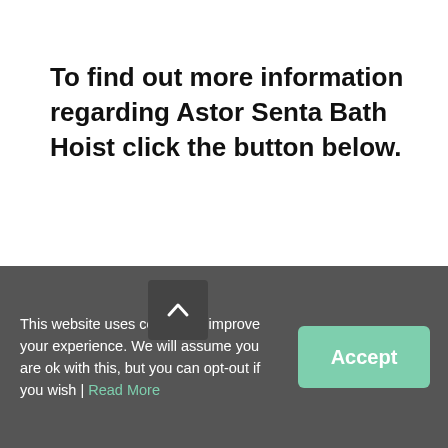To find out more information regarding Astor Senta Bath Hoist click the button below.
[Figure (other): Green rounded button labeled 'Request a quote']
Description
The revolutionary Astor
This website uses cookies to improve your experience. We will assume you are ok with this, but you can opt-out if you wish | Read More
[Figure (other): Green 'Accept' button in cookie consent banner]